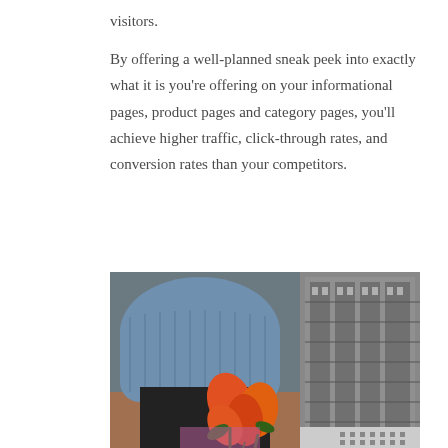visitors.
By offering a well-planned sneak peek into exactly what it is you're offering on your informational pages, product pages and category pages, you'll achieve higher traffic, click-through rates, and conversion rates than your competitors.
[Figure (photo): A person in a blue knit sweater holding orange tulips, with a black and white image of a city building visible on the right side.]